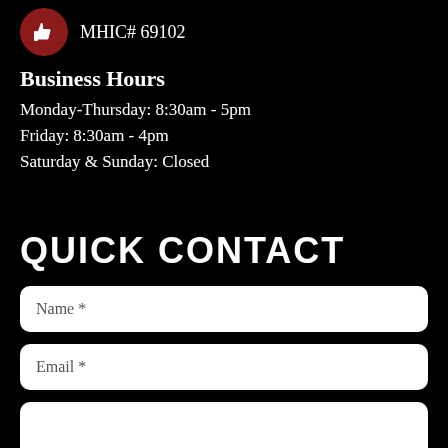[Figure (logo): Red circle with white thumbs-up icon]
MHIC# 69102
Business Hours
Monday-Thursday: 8:30am - 5pm
Friday: 8:30am - 4pm
Saturday & Sunday: Closed
QUICK CONTACT
Name *
Email *